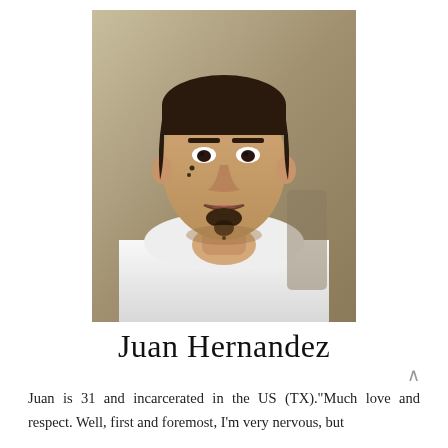[Figure (photo): Portrait photo of Juan Hernandez, a man in a white jacket/shirt with facial tattoos, short hair, seated against a muted greenish-tan background.]
Juan Hernandez
Juan is 31 and incarcerated in the US (TX)."Much love and respect. Well, first and foremost, I'm very nervous, but